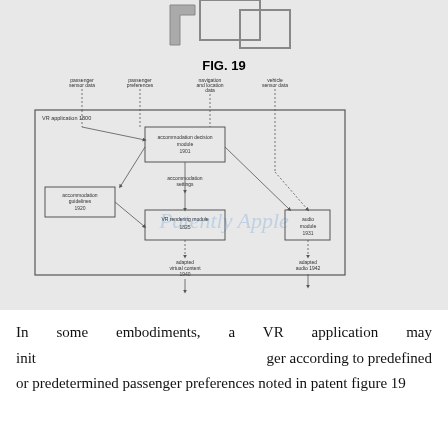[Figure (schematic): Patent FIG. 19 showing a block diagram of a VR application system with accommodation decision module (1901), accommodation guidelines (1920), VR rendering module (1925), audio module (1931), adapted virtual content (1940), adapted audio (1942), with inputs from passenger sensor data, passenger preferences, navigation/location data, and vehicle sensor data.]
FIG. 19
In some embodiments, a VR application may init [ialize settings for a passenger] according to predefined or predetermined passenger preferences noted in patent figure 19